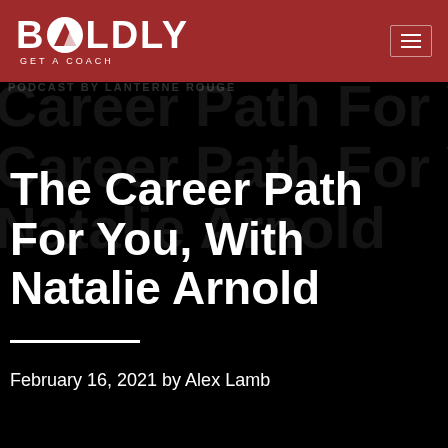BOLDLY GET A COACH
The Career Path For You, With Natalie Arnold
February 16, 2021 by Alex Lamb